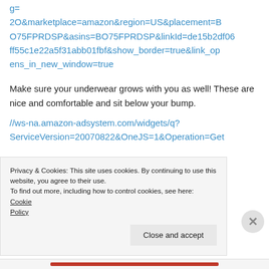g=
2O&marketplace=amazon&region=US&placement=BO75FPRDSP&asins=BO75FPRDSP&linkId=de15b2df06ff55c1e22a5f31abb01fbf&show_border=true&link_opens_in_new_window=true
Make sure your underwear grows with you as well! These are nice and comfortable and sit below your bump.
//ws-na.amazon-adsystem.com/widgets/q?ServiceVersion=20070822&OneJS=1&Operation=Get
Privacy & Cookies: This site uses cookies. By continuing to use this website, you agree to their use.
To find out more, including how to control cookies, see here: Cookie Policy
Close and accept